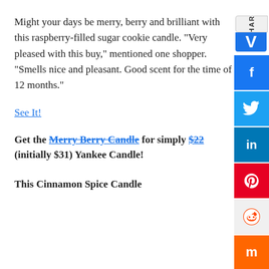Might your days be merry, berry and brilliant with this raspberry-filled sugar cookie candle. “Very pleased with this buy,” mentioned one shopper. “Smells nice and pleasant. Good scent for the time of 12 months.”
See It!
Get the Merry Berry Candle for simply $22 (initially $31) Yankee Candle!
This Cinnamon Spice Candle